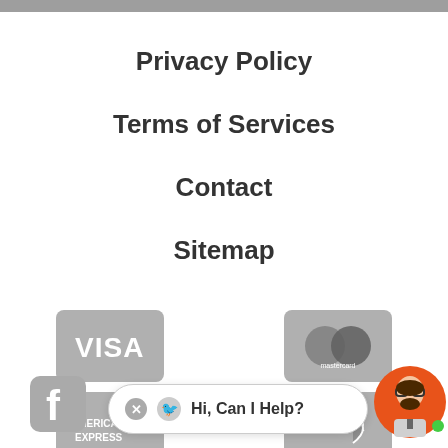Privacy Policy
Terms of Services
Contact
Sitemap
[Figure (illustration): Payment method icons: Visa, Mastercard, American Express, Discover, rendered in gray]
[Figure (illustration): Facebook icon in gray at bottom left, chat widget with 'Hi, Can I Help?' speech bubble and customer service avatar icon at bottom right]